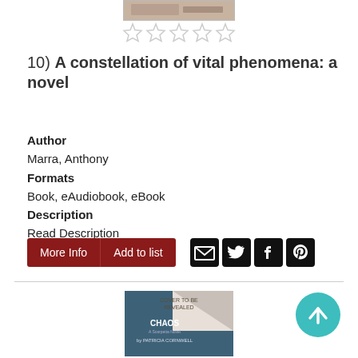[Figure (illustration): Partial book cover image at top, cropped]
[Figure (other): Five empty/outline rating stars]
10) A constellation of vital phenomena: a novel
Author
Marra, Anthony
Formats
Book, eAudiobook, eBook
Description
Read Description
[Figure (other): More Info and Add to list buttons, plus email, Twitter, Facebook, Pinterest social icons]
[Figure (illustration): Book cover for CHAOS: A Scarpetta Novel by Patricia Cornwell, cover to be revealed placeholder]